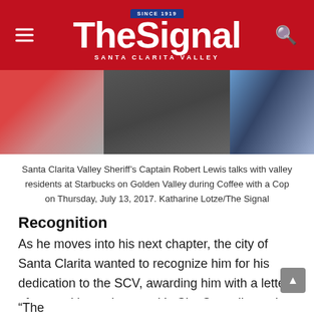The Signal — Santa Clarita Valley
[Figure (photo): Santa Clarita Valley Sheriff's Captain Robert Lewis talks with valley residents at a Starbucks, cropped photo showing people from waist level]
Santa Clarita Valley Sheriff’s Captain Robert Lewis talks with valley residents at Starbucks on Golden Valley during Coffee with a Cop on Thursday, July 13, 2017. Katharine Lotze/The Signal
Recognition
As he moves into his next chapter, the city of Santa Clarita wanted to recognize him for his dedication to the SCV, awarding him with a letter of recognition at last week’s City Council meeting.